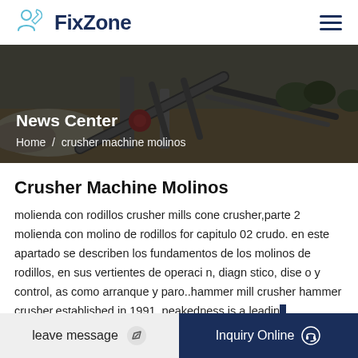FixZone
[Figure (screenshot): Hero banner showing industrial crusher/mining equipment with dark overlay, titled 'News Center' with breadcrumb 'Home / crusher machine molinos']
Crusher Machine Molinos
molienda con rodillos crusher mills cone crusher,parte 2 molienda con molino de rodillos for capitulo 02 crudo. en este apartado se describen los fundamentos de los molinos de rodillos, en sus vertientes de operaci n, diagn stico, dise o y control, as como arranque y paro..hammer mill crusher hammer crusher,established in 1991, peakedness is a leading
leave message | Inquiry Online